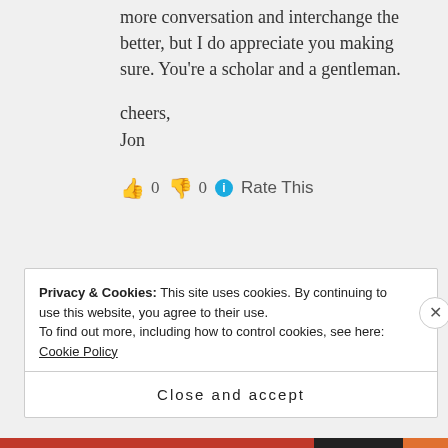more conversation and interchange the better, but I do appreciate you making sure. You're a scholar and a gentleman.
cheers,
Jon
👍 0 👎 0 ℹ Rate This
Privacy & Cookies: This site uses cookies. By continuing to use this website, you agree to their use.
To find out more, including how to control cookies, see here: Cookie Policy
Close and accept